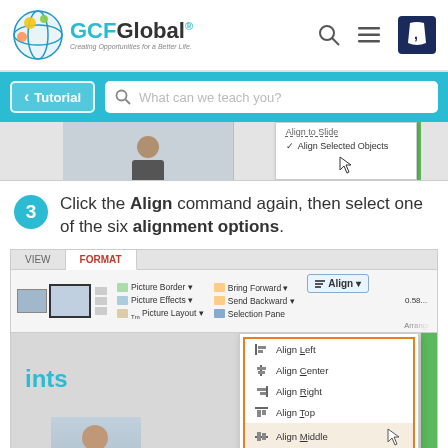[Figure (screenshot): GCFGlobal navigation bar with logo, search icon, menu icon, and Goodwill logo]
[Figure (screenshot): Teal navigation bar with Tutorial back button and search box saying 'What can we teach you?']
[Figure (screenshot): Partial screenshot showing Align to Slide and Align Selected Objects menu options]
3  Click the Align command again, then select one of the six alignment options.
[Figure (screenshot): PowerPoint FORMAT ribbon showing Picture Border, Picture Effects, Picture Layout, Bring Forward, Send Backward, Selection Pane, Align dropdown menu with options: Align Left, Align Center, Align Right, Align Top, Align Middle (highlighted), Align Bottom, Distribute Horizontally, Distribute Vertically, Align to Slide, Align Selected Objects. The six alignment options (Align Left through Align Bottom) are highlighted with an orange border.]